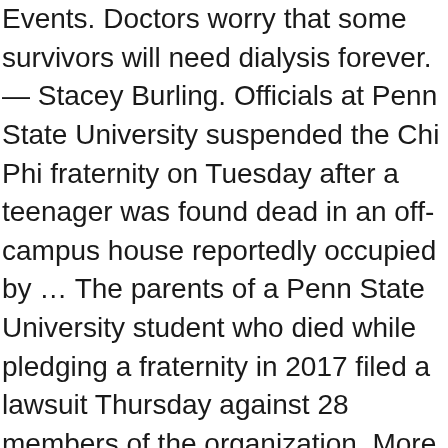Events. Doctors worry that some survivors will need dialysis forever.— Stacey Burling. Officials at Penn State University suspended the Chi Phi fraternity on Tuesday after a teenager was found dead in an off-campus house reportedly occupied by … The parents of a Penn State University student who died while pledging a fraternity in 2017 filed a lawsuit Thursday against 28 members of the organization. More information about Fraternity and Sorority Life at Penn State can be found on the Student Affairs website. Penn State has a robust fraternity and sorority community and is committed to academic achievement, service and philanthropy, leadership, brotherhood and sisterhood, social, and alumni involvement. Fraternity at Penn State Suspended After 17-Year-Old Dies at Off-Campus House. Penn State's Kappa Delta Rho fraternity has lost its recognition on the University Park campus due to "a